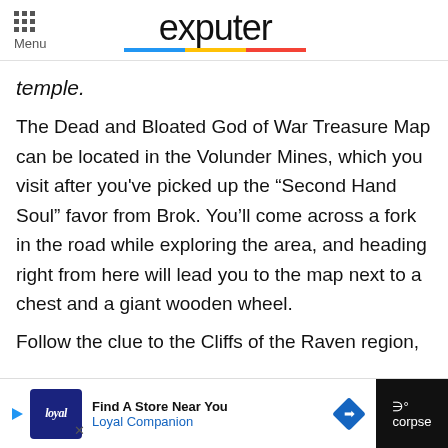Menu | exputer
temple.
The Dead and Bloated God of War Treasure Map can be located in the Volunder Mines, which you visit after you've picked up the “Second Hand Soul” favor from Brok. You’ll come across a fork in the road while exploring the area, and heading right from here will lead you to the map next to a chest and a giant wooden wheel.
Follow the clue to the Cliffs of the Raven region,
Find A Store Near You Loyal Companion | corpse